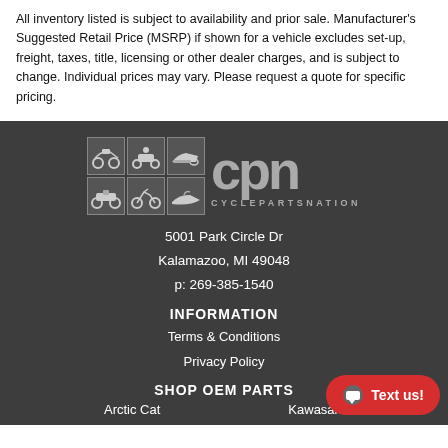All inventory listed is subject to availability and prior sale. Manufacturer's Suggested Retail Price (MSRP) if shown for a vehicle excludes set-up, freight, taxes, title, licensing or other dealer charges, and is subject to change. Individual prices may vary. Please request a quote for specific pricing.
[Figure (logo): CPN CyclePartsNation logo with grid of 6 powersports vehicle icons and large CPN text]
5001 Park Circle Dr
Kalamazoo, MI 49048
p: 269-385-1540
INFORMATION
Terms & Conditions
Privacy Policy
SHOP OEM PARTS
Arctic Cat
Kawasaki